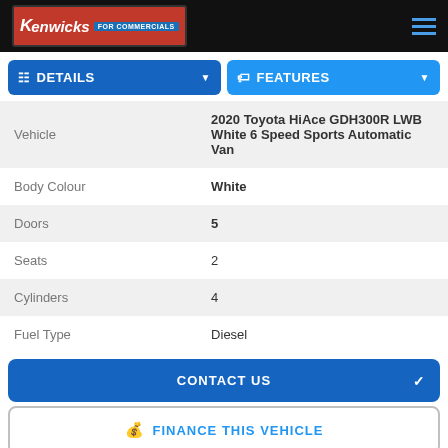[Figure (logo): Kenwicks For Commercials logo on black header bar with hamburger menu icon]
DETAILS
FEATURES
| Vehicle | 2020 Toyota HiAce GDH300R LWB White 6 Speed Sports Automatic Van |
| Body Colour | White |
| Doors | 5 |
| Seats | 2 |
| Cylinders | 4 |
| Fuel Type | Diesel |
CONTACT US
FINANCE THIS VEHICLE